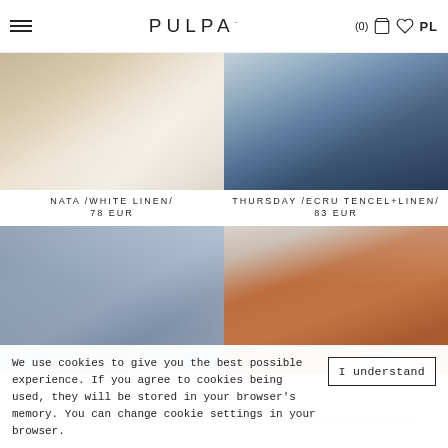PULPA · (0) · PL
[Figure (photo): NATA /WHITE LINEN/ product photo — woman in white linen outfit near sandy background]
NATA /WHITE LINEN/
78 EUR
[Figure (photo): THURSDAY /ECRU TENCEL+LINEN/ product photo — woman in blue trousers holding fabric]
THURSDAY /ECRU TENCEL+LINEN/
83 EUR
[Figure (photo): THURSDAY /BLUE TENCEL+LINEN/ product photo — woman with lavender hair in blue shirt leaning against wall]
[Figure (photo): THURSDAY /RUST TENCEL+LINEN/ product photo — woman with lavender hair in rust/orange shirt against light grey wall]
We use cookies to give you the best possible experience. If you agree to cookies being used, they will be stored in your browser's memory. You can change cookie settings in your browser.
I understand
THURSDAY /BLUE TENCEL+LINEN/
THURSDAY /RUST TENCEL+LINEN/